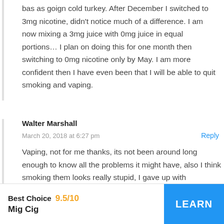bas as goign cold turkey. After December I switched to 3mg nicotine, didn't notice much of a difference. I am now mixing a 3mg juice with 0mg juice in equal portions… I plan on doing this for one month then switching to 0mg nicotine only by May. I am more confident then I have even been that I will be able to quit smoking and vaping.
Walter Marshall
March 20, 2018 at 6:27 pm
Reply
Vaping, not for me thanks, its not been around long enough to know all the problems it might have, also I think smoking them looks really stupid, I gave up with
Best Choice   9.5/10
Mig Cig
LEARN